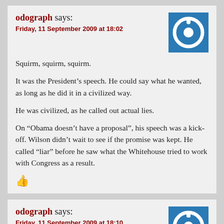odograph says:
Friday, 11 September 2009 at 18:02
Squirm, squirm, squirm.
It was the President’s speech. He could say what he wanted, as long as he did it in a civilized way.
He was civilized, as he called out actual lies.
On “Obama doesn’t have a proposal”, his speech was a kick-off. Wilson didn’t wait to see if the promise was kept. He called “liar” before he saw what the Whitehouse tried to work with Congress as a result.
odograph says:
Friday, 11 September 2009 at 18:10